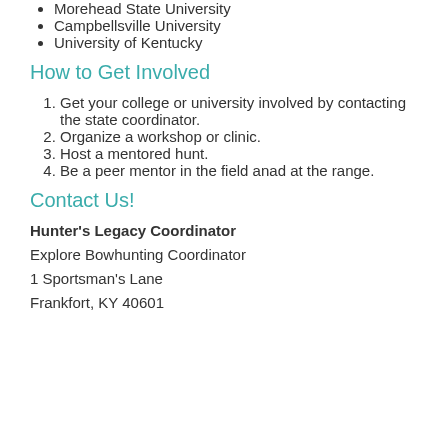Morehead State University
Campbellsville University
University of Kentucky
How to Get Involved
Get your college or university involved by contacting the state coordinator.
Organize a workshop or clinic.
Host a mentored hunt.
Be a peer mentor in the field anad at the range.
Contact Us!
Hunter's Legacy Coordinator
Explore Bowhunting Coordinator
1 Sportsman's Lane
Frankfort, KY 40601